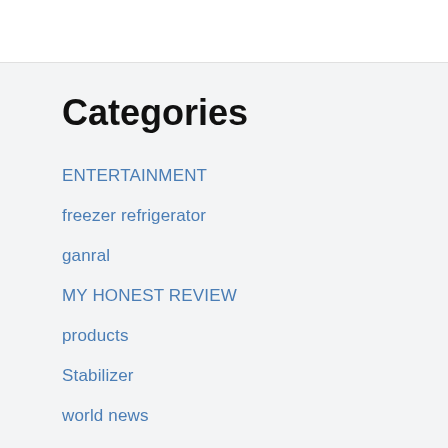Categories
ENTERTAINMENT
freezer refrigerator
ganral
MY HONEST REVIEW
products
Stabilizer
world news